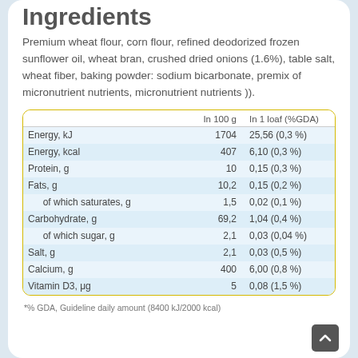Ingredients
Premium wheat flour, corn flour, refined deodorized frozen sunflower oil, wheat bran, crushed dried onions (1.6%), table salt, wheat fiber, baking powder: sodium bicarbonate, premix of micronutrient nutrients, micronutrient nutrients )).
|  | In 100 g | In 1 loaf (%GDA) |
| --- | --- | --- |
| Energy, kJ | 1704 | 25,56 (0,3 %) |
| Energy, kcal | 407 | 6,10 (0,3 %) |
| Protein, g | 10 | 0,15 (0,3 %) |
| Fats, g | 10,2 | 0,15 (0,2 %) |
| of which saturates, g | 1,5 | 0,02 (0,1 %) |
| Carbohydrate, g | 69,2 | 1,04 (0,4 %) |
| of which sugar, g | 2,1 | 0,03 (0,04 %) |
| Salt, g | 2,1 | 0,03 (0,5 %) |
| Calcium, g | 400 | 6,00 (0,8 %) |
| Vitamin D3, μg | 5 | 0,08 (1,5 %) |
*% GDA, Guideline daily amount (8400 kJ/2000 kcal)